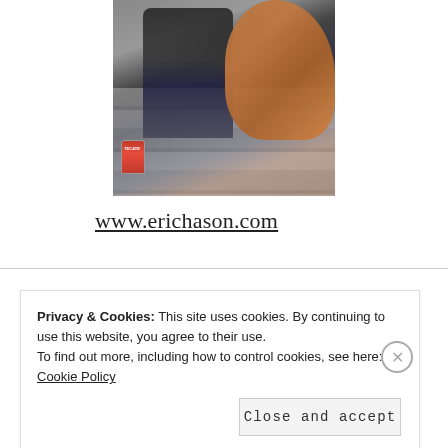[Figure (photo): A person in dark clothing sitting on stone steps hugging a large reddish-brown dog (Vizsla). A Tecate beer can is visible on the step to the left.]
www.erichason.com
Privacy & Cookies: This site uses cookies. By continuing to use this website, you agree to their use.
To find out more, including how to control cookies, see here: Cookie Policy
Close and accept